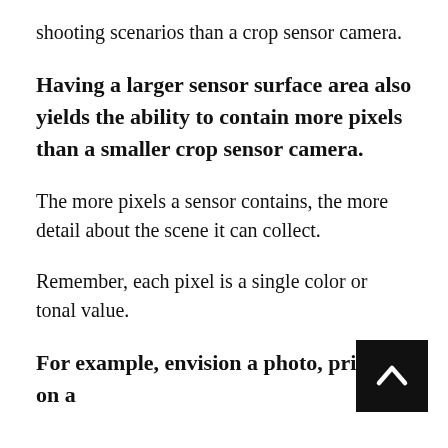shooting scenarios than a crop sensor camera.
Having a larger sensor surface area also yields the ability to contain more pixels than a smaller crop sensor camera.
The more pixels a sensor contains, the more detail about the scene it can collect.
Remember, each pixel is a single color or tonal value.
For example, envision a photo, printed on a